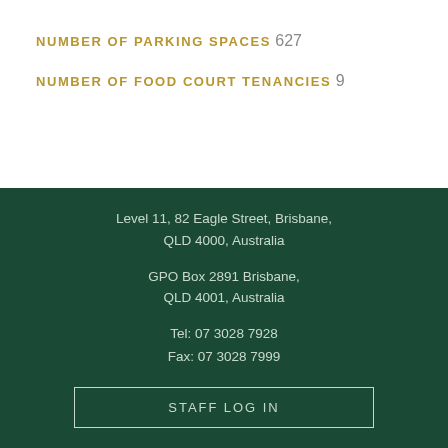NUMBER OF PARKING SPACES
627
NUMBER OF FOOD COURT TENANCIES
9
Level 11, 82 Eagle Street, Brisbane, QLD 4000, Australia
GPO Box 2891 Brisbane, QLD 4001, Australia
Tel: 07 3028 7928
Fax: 07 3028 7999
STAFF LOG IN